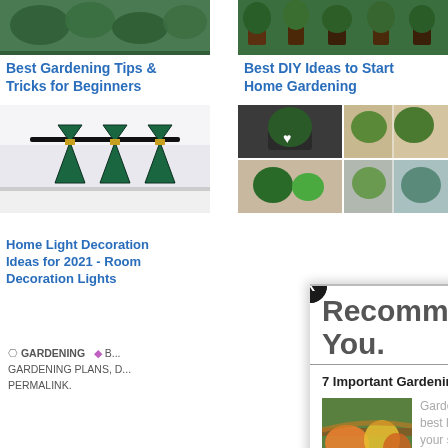[Figure (photo): Green leafy garden plants top-left image]
[Figure (photo): Green potted herb plants top-right image]
Best Gardening Tips & Tricks for Beginners
Best DIY Ideas to Start Home Gardening
[Figure (photo): Modern dark green pendant light fixtures mid-left]
[Figure (photo): Collage of potted plants and succulents mid-right]
Home Light Decoration Ideas for 2021 - Room Decoration Lights
GARDENING  B... GARDENING PLANS, D... PERMALINK.
[Figure (screenshot): Recommended For You overlay panel with article about 7 Important Gardening Ideas for Beginners in 2021]
Recommended For You.
7 Important Gardening Ideas for Beginners in 2021
Gardening is always the best hobby to spend your spare time on, and a small backyard garden is good enough